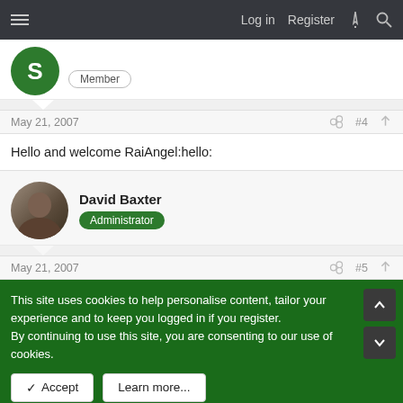Log in  Register
[Figure (other): Partial forum post from user with green 'S' avatar and Member badge]
May 21, 2007  #4
Hello and welcome RaiAngel:hello:
[Figure (other): Forum user profile: David Baxter with photo avatar and Administrator badge]
May 21, 2007  #5
This site uses cookies to help personalise content, tailor your experience and to keep you logged in if you register.
By continuing to use this site, you are consenting to our use of cookies.